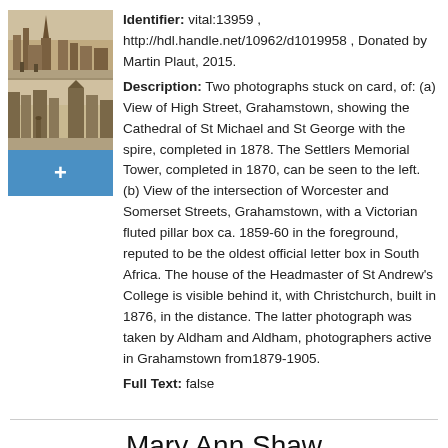[Figure (photo): Two historical photographs of Grahamstown streets mounted on card, shown as thumbnail. Below is a blue plus button.]
Identifier: vital:13959 , http://hdl.handle.net/10962/d1019958 , Donated by Martin Plaut, 2015. Description: Two photographs stuck on card, of: (a) View of High Street, Grahamstown, showing the Cathedral of St Michael and St George with the spire, completed in 1878. The Settlers Memorial Tower, completed in 1870, can be seen to the left. (b) View of the intersection of Worcester and Somerset Streets, Grahamstown, with a Victorian fluted pillar box ca. 1859-60 in the foreground, reputed to be the oldest official letter box in South Africa. The house of the Headmaster of St Andrew's College is visible behind it, with Christchurch, built in 1876, in the distance. The latter photograph was taken by Aldham and Aldham, photographers active in Grahamstown from1879-1905. Full Text: false
Mary Ann Shaw